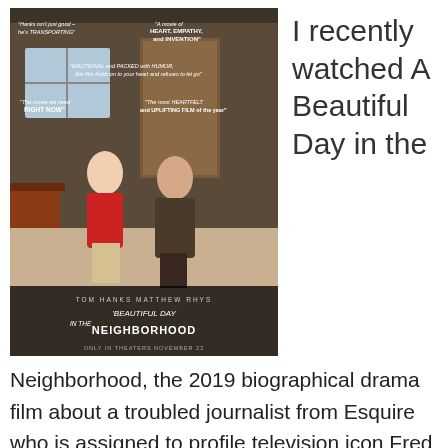[Figure (photo): Movie poster for 'A Beautiful Day in the Neighborhood' starring Tom Hanks and Matthew Rhys. Shows two men sitting on a set resembling Mister Rogers' Neighborhood, with critical quotes around the top.]
I recently watched A Beautiful Day in the Neighborhood, the 2019 biographical drama film about a troubled journalist from Esquire who is assigned to profile television icon Fred Rogers (played by Tom Hanks). When the movie began, I